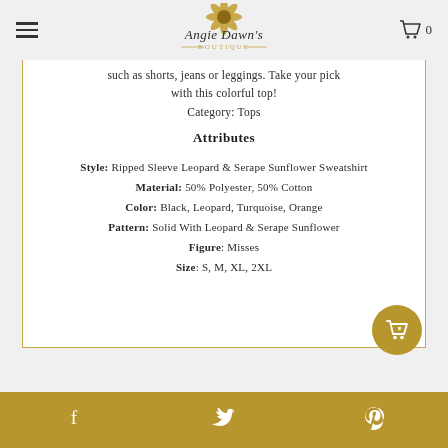Angie Dawn's Boutique — navigation header with menu and cart (0)
such as shorts, jeans or leggings. Take your pick with this colorful top!
Category: Tops
Attributes
Style: Ripped Sleeve Leopard & Serape Sunflower Sweatshirt
Material: 50% Polyester, 50% Cotton
Color: Black, Leopard, Turquoise, Orange
Pattern: Solid With Leopard & Serape Sunflower
Figure: Misses
Size: S, M, XL, 2XL
Social sharing bar: Facebook, Twitter, Pinterest